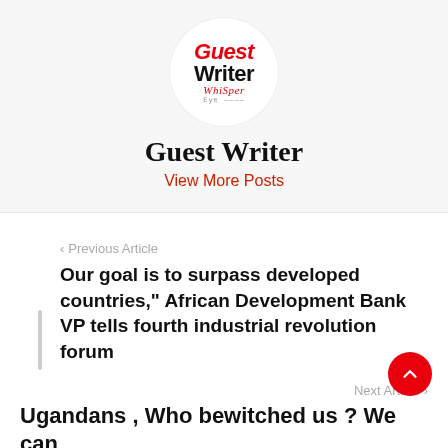[Figure (logo): Guest Writer Whisper logo in a white circle on light gray background]
Guest Writer
View More Posts
‹ Previous Article
Our goal is to surpass developed countries," African Development Bank VP tells fourth industrial revolution forum
Next Article ›
Ugandans , Who bewitched us ? We can